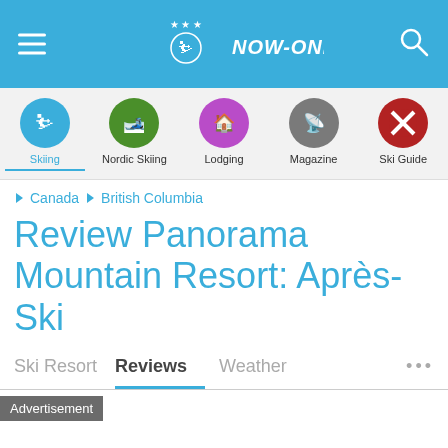NOW-ONLINE
Skiing | Nordic Skiing | Lodging | Magazine | Ski Guide
Canada > British Columbia
Review Panorama Mountain Resort: Après-Ski
Ski Resort | Reviews | Weather | ...
Advertisement